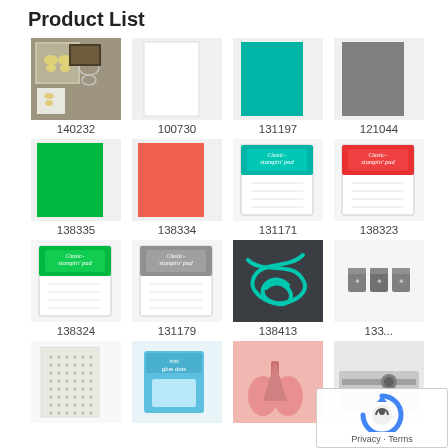Product List
[Figure (photo): Butterfly stamp set product photo (140232)]
140232
[Figure (photo): White card stock (100730)]
100730
[Figure (photo): Teal/turquoise ink pad or cardstock (131197)]
131197
[Figure (photo): Gray cardstock (121044)]
121044
[Figure (photo): Green cardstock (138335)]
138335
[Figure (photo): Coral/salmon cardstock (138334)]
138334
[Figure (photo): Classic Stampin' Pad teal (131171)]
131171
[Figure (photo): Classic Stampin' Pad red/coral (138323)]
138323
[Figure (photo): Classic Stampin' Pad green (138324)]
138324
[Figure (photo): Classic Stampin' Pad gray (131179)]
131179
[Figure (photo): Teal rope/twine (138413)]
138413
[Figure (photo): Gray metal clips/staples (133...)]
133...
[Figure (photo): Rhinestone adhesive sheet (row 4 col 1)]
[Figure (photo): Mini glue dots (row 4 col 2)]
[Figure (photo): Pink scissors/tool (row 4 col 3)]
[Figure (photo): Paper trimmer tool (row 4 col 4)]